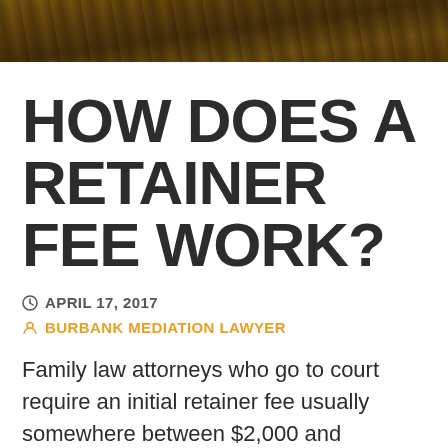[Figure (photo): Hero image with dark amber/brown outdoor landscape background, partially visible at top]
HOW DOES A RETAINER FEE WORK?
APRIL 17, 2017
BURBANK MEDIATION LAWYER
Family law attorneys who go to court require an initial retainer fee usually somewhere between $2,000 and $50,000 before they will be retained